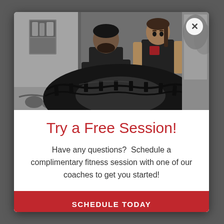[Figure (photo): Black and white photo of a male fitness coach in a black shirt watching a female athlete in a tank top flipping or lifting a large heavy tractor tire in a gym setting. Kettlebells and gym equipment visible in the background.]
Try a Free Session!
Have any questions?  Schedule a complimentary fitness session with one of our coaches to get you started!
SCHEDULE TODAY